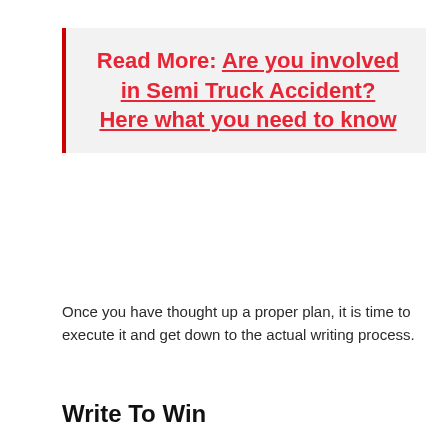Read More: Are you involved in Semi Truck Accident? Here what you need to know
Once you have thought up a proper plan, it is time to execute it and get down to the actual writing process.
Write To Win